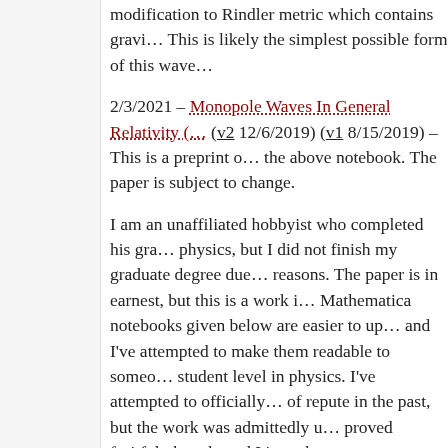modification to Rindler metric which contains gravi… This is likely the simplest possible form of this wave…
2/3/2021 – Monopole Waves In General Relativity (… (v2 12/6/2019) (v1 8/15/2019) – This is a preprint o… the above notebook. The paper is subject to change.
I am an unaffiliated hobbyist who completed his gra… physics, but I did not finish my graduate degree due… reasons. The paper is in earnest, but this is a work i… Mathematica notebooks given below are easier to up… and I've attempted to make them readable to someo… student level in physics. I've attempted to officially… of repute in the past, but the work was admittedly u… proved fruitful, though, and I intend to attempt to pu… hypothesis is fully developed.
I apologize if this is generally unprofessional. I lack… feedback. Any commentary whatsoever on the resea… I may be contacted at stranoj@gmail.com.
I continue to work on this. Here are some …